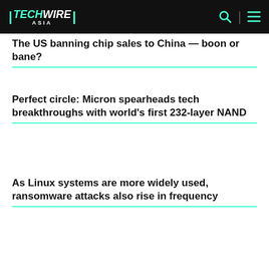TechWire Asia
The US banning chip sales to China — boon or bane?
Perfect circle: Micron spearheads tech breakthroughs with world's first 232-layer NAND
As Linux systems are more widely used, ransomware attacks also rise in frequency